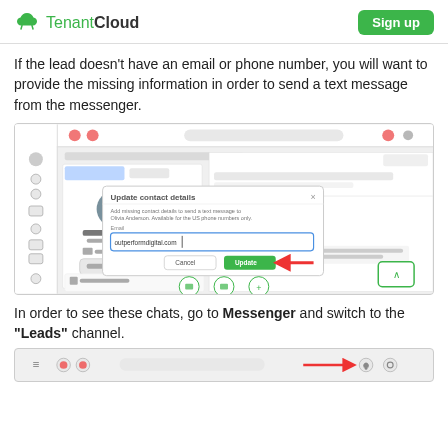TenantCloud | Sign up
If the lead doesn’t have an email or phone number, you will want to provide the missing information in order to send a text message from the messenger.
[Figure (screenshot): Screenshot of TenantCloud interface showing an 'Update contact details' modal dialog with an email field filled in with 'outperformdigital.com', Cancel and Update buttons, and a red arrow pointing to the Update button.]
In order to see these chats, go to Messenger and switch to the “Leads” channel.
[Figure (screenshot): Partial screenshot of TenantCloud messenger navigation bar with a red arrow pointing to a notification bell icon.]